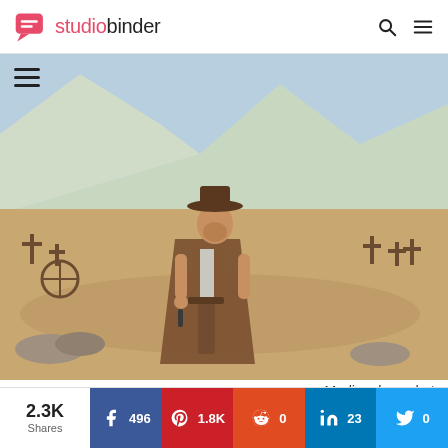studiobinder
[Figure (photo): A man dressed as a Western cowboy/gunslinger wearing a wide-brimmed hat, poncho-style cape, and fur vest, standing in a desert cemetery landscape with mountains in the background. Still from a Spaghetti Western film (The Good, the Bad and the Ugly).]
Medium long shot
2.3K Shares  496  1.8K  0  23  0